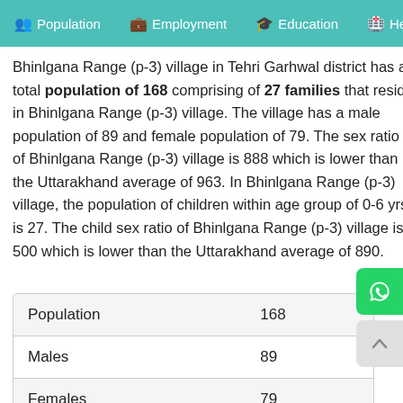Population   Employment   Education   He...
Bhinlgana Range (p-3) village in Tehri Garhwal district has a total population of 168 comprising of 27 families that reside in Bhinlgana Range (p-3) village. The village has a male population of 89 and female population of 79. The sex ratio of Bhinlgana Range (p-3) village is 888 which is lower than the Uttarakhand average of 963. In Bhinlgana Range (p-3) village, the population of children within age group of 0-6 yrs is 27. The child sex ratio of Bhinlgana Range (p-3) village is 500 which is lower than the Uttarakhand average of 890.
| Population | 168 |
| Males | 89 |
| Females | 79 |